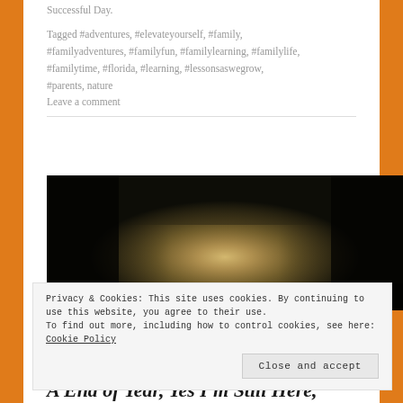Successful Day.
Tagged #adventures, #elevateyourself, #family, #familyadventures, #familyfun, #familylearning, #familylife, #familytime, #florida, #learning, #lessonsaswegrow, #parents, nature
Leave a comment
[Figure (photo): A dark forest path scene with trees silhouetted against a bright misty light in the center, creating a dramatic tunnel effect through dense woodland.]
Privacy & Cookies: This site uses cookies. By continuing to use this website, you agree to their use. To find out more, including how to control cookies, see here: Cookie Policy
Close and accept
A End of Year, Yes I'm Still Here,